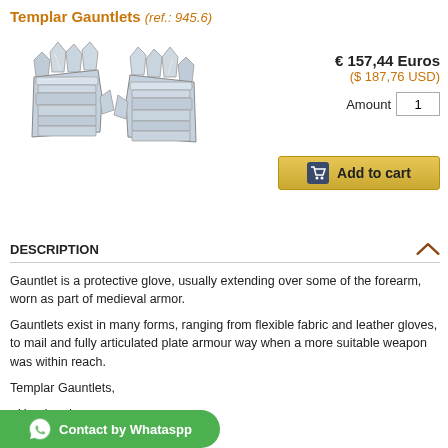Templar Gauntlets (ref.: 945.6)
[Figure (photo): Two silver Templar Gauntlets with articulated finger plates and gold Templar cross emblem, displayed side by side on white background.]
€ 157,44 Euros
($ 187,76 USD)
Amount: 1
Add to cart
DESCRIPTION
Gauntlet is a protective glove, usually extending over some of the forearm, worn as part of medieval armor.
Gauntlets exist in many forms, ranging from flexible fabric and leather gloves, to mail and fully articulated plate armour way when a more suitable weapon was within reach.
Templar Gauntlets,
- Handmade.
- Gauntlest hand chiseled.
Contact by Whataspp